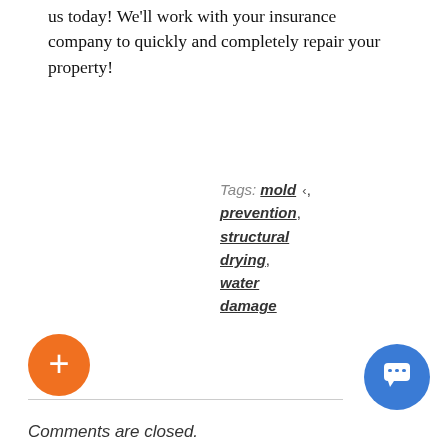us today! We'll work with your insurance company to quickly and completely repair your property!
Tags: mold prevention, structural drying, water damage
Comments are closed.